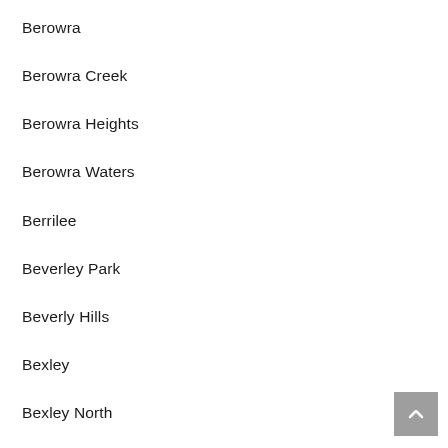Berowra
Berowra Creek
Berowra Heights
Berowra Waters
Berrilee
Beverley Park
Beverly Hills
Bexley
Bexley North